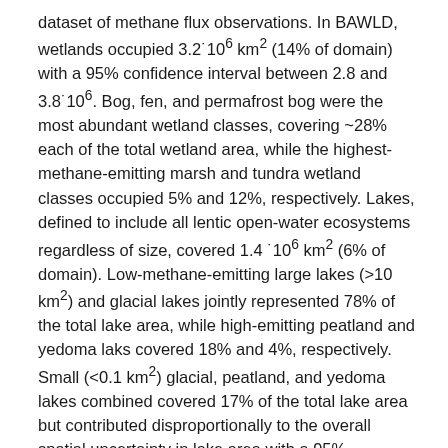dataset of methane flux observations. In BAWLD, wetlands occupied 3.2˙10⁶ km² (14% of domain) with a 95% confidence interval between 2.8 and 3.8˙10⁶. Bog, fen, and permafrost bog were the most abundant wetland classes, covering ~28% each of the total wetland area, while the highest-methane-emitting marsh and tundra wetland classes occupied 5% and 12%, respectively. Lakes, defined to include all lentic open-water ecosystems regardless of size, covered 1.4 ˙10⁶ km² (6% of domain). Low-methane-emitting large lakes (>10 km²) and glacial lakes jointly represented 78% of the total lake area, while high-emitting peatland and yedoma laks covered 18% and 4%, respectively. Small (<0.1 km²) glacial, peatland, and yedoma lakes combined covered 17% of the total lake area but contributed disproportionally to the overall spatial uncertainty in lake area with a 95% confidence interval between 0.15 and 0.38˙10⁶ km². Rivers and streams were estimated to cover 0.12˙10⁶ km² (0.5% of domain), of which 9% was associated with high methane emitting...